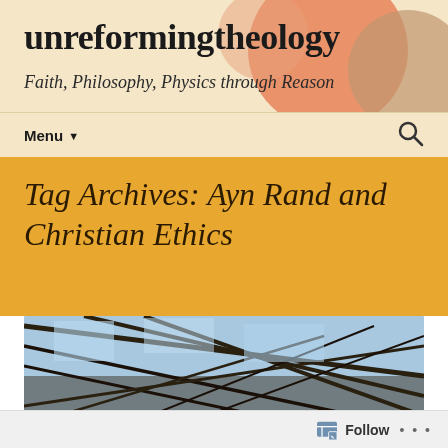unreformingtheology
Faith, Philosophy, Physics through Reason
Menu
Tag Archives: Ayn Rand and Christian Ethics
[Figure (photo): Interior of a large industrial or train station building with steel lattice roof structure and glass panels, viewed from below at an angle]
Follow ...